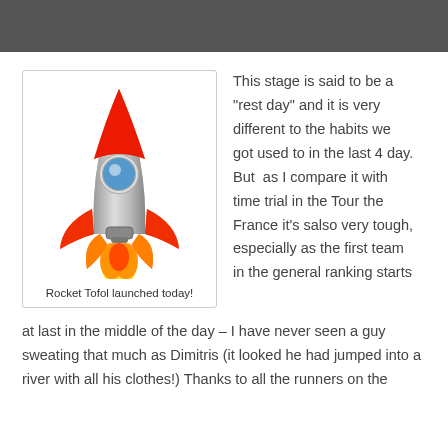[Figure (illustration): Cartoon rocket ship illustration with red fins and flame, metallic silver body with a blue porthole window, launching upward.]
Rocket Tofol launched today!
This stage is said to be a “rest day” and it is very different to the habits we got used to in the last 4 day. But  as I compare it with time trial in the Tour the France it’s salso very tough, especially as the first team in the general ranking starts at last in the middle of the day – I have never seen a guy sweating that much as Dimitris (it looked he had jumped into a river with all his clothes!) Thanks to all the runners on the